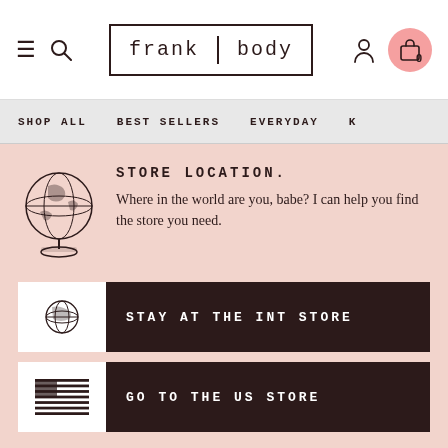frank body - website header with hamburger menu, search, logo, user icon, and cart
SHOP ALL   BEST SELLERS   EVERYDAY   K
STORE LOCATION.
Where in the world are you, babe? I can help you find the store you need.
STAY AT THE INT STORE
GO TO THE US STORE
””